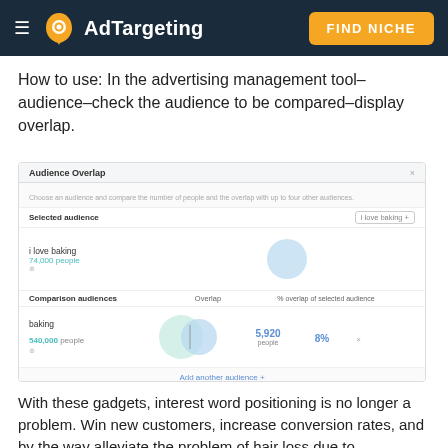AdTargeting | FIND NICHE
How to use: In the advertising management tool–audience–check the audience to be compared–display overlap.
[Figure (screenshot): Screenshot of Facebook Audience Overlap tool showing 'i love baking' selected audience with 74,000 people and 'baking' comparison audience with 540,000 people, overlap of 5,920 people at 8%]
With these gadgets, interest word positioning is no longer a problem. Win new customers, increase conversion rates, and by the way alleviate the problem of hair loss due to unimaginable interest words. Therefore, we must be able to make good use of these interest words, these gadgets can